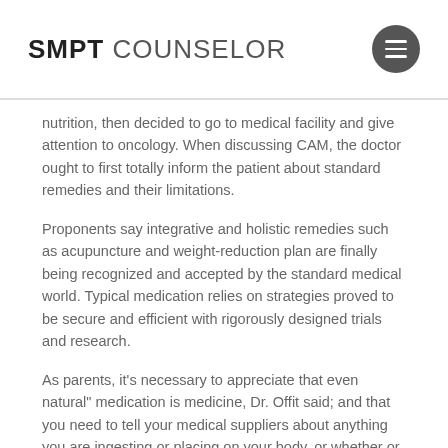SMPT COUNSELOR
nutrition, then decided to go to medical facility and give attention to oncology. When discussing CAM, the doctor ought to first totally inform the patient about standard remedies and their limitations.
Proponents say integrative and holistic remedies such as acupuncture and weight-reduction plan are finally being recognized and accepted by the standard medical world. Typical medication relies on strategies proved to be secure and efficient with rigorously designed trials and research.
As parents, it’s necessary to appreciate that even natural” medication is medicine, Dr. Offit said; and that you need to tell your medical suppliers about anything you are ingesting or placing on your body, or whether or not you’re seeing some other caretakers.
Patients flip to various drugs for a lot of reasons, including persistent signs, psychological misery or to